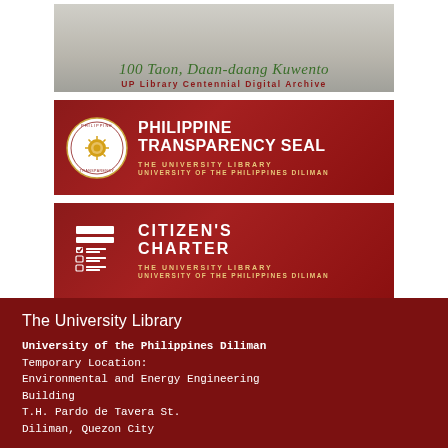[Figure (illustration): 100 Taon, Daan-daang Kuwento – UP Library Centennial Digital Archive banner with a grayscale photo of a building and green script text with dark red subtitle]
[Figure (logo): Philippine Transparency Seal banner for The University Library, University of the Philippines Diliman – dark red background with seal emblem and white bold text]
[Figure (logo): Citizen's Charter banner for The University Library, University of the Philippines Diliman – dark red background with checklist icon and white spaced bold text]
The University Library
University of the Philippines Diliman
Temporary Location:
Environmental and Energy Engineering Building
T.H. Pardo de Tavera St.
Diliman, Quezon City